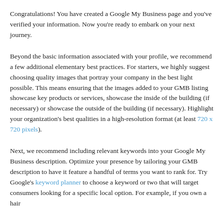Congratulations! You have created a Google My Business page and you've verified your information. Now you're ready to embark on your next journey.
Beyond the basic information associated with your profile, we recommend a few additional elementary best practices. For starters, we highly suggest choosing quality images that portray your company in the best light possible. This means ensuring that the images added to your GMB listing showcase key products or services, showcase the inside of the building (if necessary) or showcase the outside of the building (if necessary). Highlight your organization's best qualities in a high-resolution format (at least 720 x 720 pixels).
Next, we recommend including relevant keywords into your Google My Business description. Optimize your presence by tailoring your GMB description to have it feature a handful of terms you want to rank for. Try Google's keyword planner to choose a keyword or two that will target consumers looking for a specific local option. For example, if you own a hair